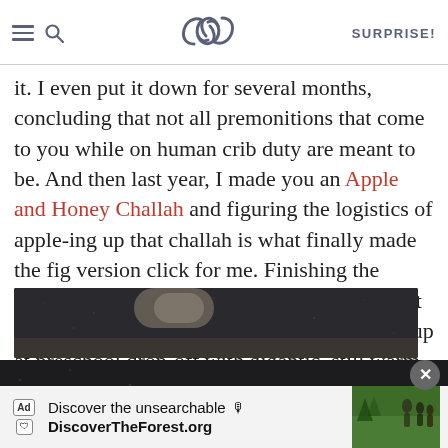SK SURPRISE!
it. I even put it down for several months, concluding that not all premonitions that come to you while on human crib duty are meant to be. And then last year, I made you an Apple and Honey Challah and figuring the logistics of apple-ing up that challah is what finally made the fig version click for me. Finishing the challah from there was a cinch. Okay, I lied. It still took four more rounds. I began showing up at preschool drop-off with gigantic, still warm-from-the-oven challahs to dump on the other parents because I could no longer fit them in my kitchen.
[Figure (photo): Dark textured background with a baked bread/challah loaf visible]
[Figure (screenshot): Advertisement bar: 'Discover the unsearchable' / 'DiscoverTheForest.org' with a forest family photo on the right]